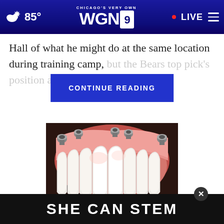CHICAGO'S VERY OWN WGN9 • LIVE | 85°
Hall of what he might do at the same location during training camp, but the Bears top pick's position appears to be
CONTINUE READING
[Figure (photo): Dental implant prosthetic showing a full arch of white teeth with pink gum-colored acrylic and metal abutment connectors on top, photographed against a dark background]
Ashburn: Actual Whole Mouth Dental
SHE CAN STEM